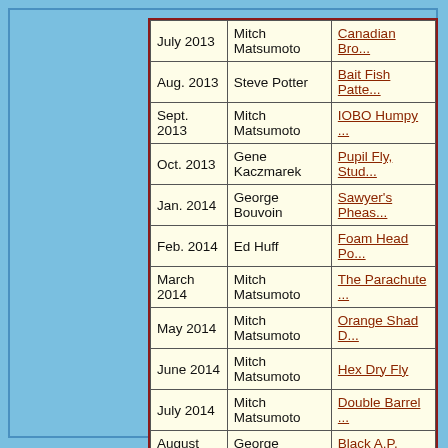| Date | Tyer | Pattern |
| --- | --- | --- |
| July 2013 | Mitch Matsumoto | Canadian Bro... |
| Aug. 2013 | Steve Potter | Bait Fish Patte... |
| Sept. 2013 | Mitch Matsumoto | IOBO Humpy ... |
| Oct. 2013 | Gene Kaczmarek | Pupil Fly, Stud... |
| Jan. 2014 | George Bouvoin | Sawyer's Pheas... |
| Feb. 2014 | Ed Huff | Foam Head Po... |
| March 2014 | Mitch Matsumoto | The Parachute ... |
| May 2014 | Mitch Matsumoto | Orange Shad D... |
| June 2014 | Mitch Matsumoto | Hex Dry Fly |
| July 2014 | Mitch Matsumoto | Double Barrel ... |
| August 2014 | George Bouvoin | Black A.P. Nyr... |
|  |  |  |
|  |  |  |